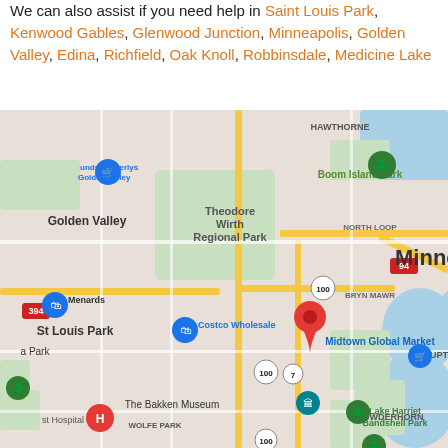We can also assist if you need help in Saint Louis Park, Kenwood Gables, Glenwood Junction, Minneapolis, Golden Valley, Edina, Richfield, Oak Knoll, Robbinsdale, Medicine Lake
[Figure (map): Google Maps screenshot showing the Minneapolis, MN area including Golden Valley, St Louis Park, Uptown, North Loop, Theodore Wirth Regional Park, Boom Island Park, Midtown Global Market, The Bakken Museum, Lake Harriet Bandshell Park, Wolfe Park, Powderhorn, and Bryn Mawr neighborhoods. A red location pin is visible near Uptown/Lake of the Isles area.]